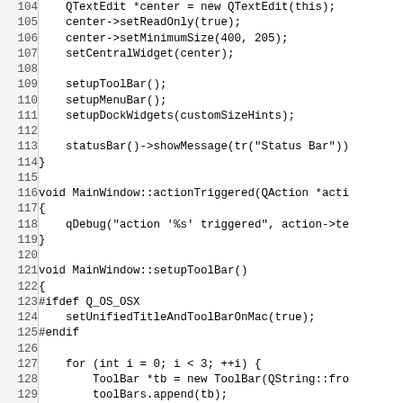[Figure (screenshot): Source code listing showing C++ code for MainWindow class methods including actionTriggered and setupToolBar, with line numbers 104-134]